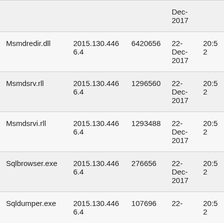|  |  |  | Dec-
2017 |  |
| Msmdredir.dll | 2015.130.4466.4 | 6420656 | 22-
Dec-
2017 | 20:52 |
| Msmdsrv.rll | 2015.130.4466.4 | 1296560 | 22-
Dec-
2017 | 20:52 |
| Msmdsrvi.rll | 2015.130.4466.4 | 1293488 | 22-
Dec-
2017 | 20:52 |
| Sqlbrowser.exe | 2015.130.4466.4 | 276656 | 22-
Dec-
2017 | 20:52 |
| Sqldumper.exe | 2015.130.4466.4 | 107696 | 22- | 20:52 |